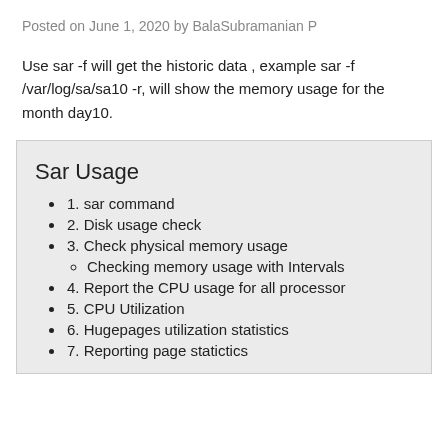Posted on June 1, 2020 by BalaSubramanian P
Use sar -f will get the historic data , example sar -f /var/log/sa/sa10 -r, will show the memory usage for the month day10.
Sar Usage
1. sar command
2. Disk usage check
3. Check physical memory usage
Checking memory usage with Intervals
4. Report the CPU usage for all processor
5. CPU Utilization
6. Hugepages utilization statistics
7. Reporting page statictics